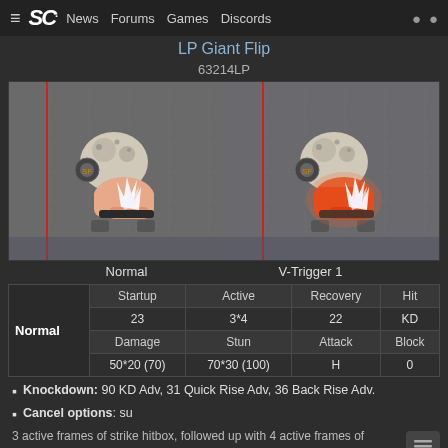≡  SC.  News  Forums  Games  Discords  👤  🔍
LP Giant Flip
63214LP
[Figure (photo): Two side-by-side screenshots of a Street Fighter character performing LP Giant Flip move. Left shows Normal version, right shows V-Trigger 1 version with orange/red glowing effect.]
Normal    V-Trigger 1
|  | Startup | Active | Recovery | Hit |
| --- | --- | --- | --- | --- |
| Normal | 23 | 3*4 | 22 | KD |
|  | Damage | Stun | Attack | Block |
|  | 50*20 (70) | 70*30 (100) | H | 0 |
Knockdown: 90 KD Adv, 31 Quick Rise Adv, 36 Back Rise Adv.
Cancel options: su
3 active frames of strike hitbox, followed up with 4 active frames of projectile hitbox (which nullifies 1 hit of project